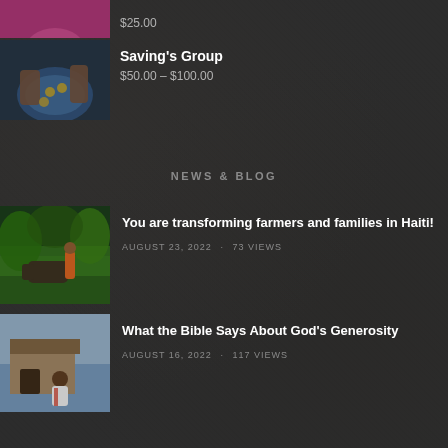$25.00
[Figure (photo): Partial image of a person in pink top, cropped at top]
Saving's Group
$50.00 – $100.00
[Figure (photo): Hands sorting coins on a blue plate]
NEWS & BLOG
[Figure (photo): Man with water buffalo in green field, Haiti]
You are transforming farmers and families in Haiti!
AUGUST 23, 2022   ·   73 VIEWS
[Figure (photo): Man sitting outside a modest home]
What the Bible Says About God's Generosity
AUGUST 16, 2022   ·   117 VIEWS